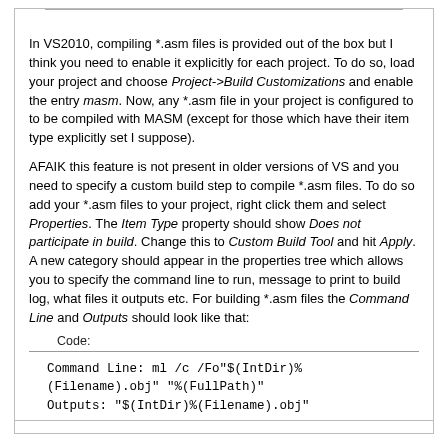In VS2010, compiling *.asm files is provided out of the box but I think you need to enable it explicitly for each project. To do so, load your project and choose Project->Build Customizations and enable the entry masm. Now, any *.asm file in your project is configured to to be compiled with MASM (except for those which have their item type explicitly set I suppose).
AFAIK this feature is not present in older versions of VS and you need to specify a custom build step to compile *.asm files. To do so add your *.asm files to your project, right click them and select Properties. The Item Type property should show Does not participate in build. Change this to Custom Build Tool and hit Apply. A new category should appear in the properties tree which allows you to specify the command line to run, message to print to build log, what files it outputs etc. For building *.asm files the Command Line and Outputs should look like that:
Code:
Command Line: ml /c /Fo"$(IntDir)%(Filename).obj" "%(FullPath)"
Outputs: "$(IntDir)%(Filename).obj"
You may want to adjust the command line a bit, e.g. to have debug info generated, but appart from that *.asm files should compile now.